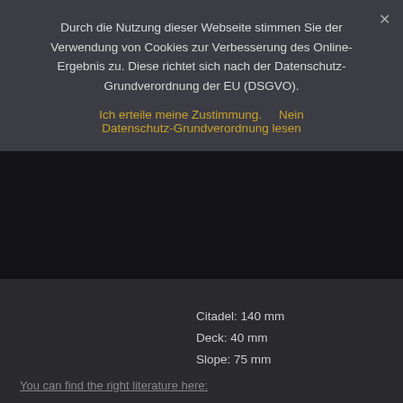Durch die Nutzung dieser Webseite stimmen Sie der Verwendung von Cookies zur Verbesserung des Online-Ergebnis zu. Diese richtet sich nach der Datenschutz-Grundverordnung der EU (DSGVO).
Ich erteile meine Zustimmung.    Nein    Datenschutz-Grundverordnung lesen
Citadel: 140 mm
Deck: 40 mm
Slope: 75 mm
You can find the right literature here: